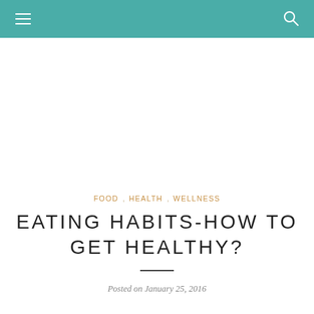Navigation bar with menu and search icons
FOOD · HEALTH · WELLNESS
EATING HABITS-HOW TO GET HEALTHY?
Posted on January 25, 2016